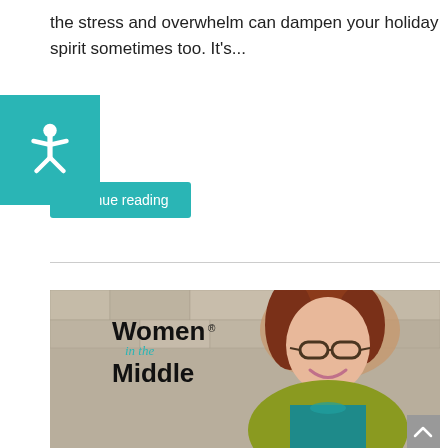the stress and overwhelm can dampen your holiday spirit sometimes too. It's...
ontinue reading
[Figure (photo): Photo of a smiling middle-aged woman with red-brown hair and glasses, wearing a yellow-green jacket and teal necklace, leaning against a stone wall. Overlaid with the logo: 'Women in the Middle']
Women® in the Middle